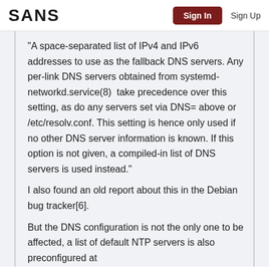SANS  Sign In  Sign Up
“A space-separated list of IPv4 and IPv6 addresses to use as the fallback DNS servers. Any per-link DNS servers obtained from systemd-networkd.service(8)  take precedence over this setting, as do any servers set via DNS= above or /etc/resolv.conf. This setting is hence only used if no other DNS server information is known. If this option is not given, a compiled-in list of DNS servers is used instead.”
I also found an old report about this in the Debian bug tracker[6].
But the DNS configuration is not the only one to be affected, a list of default NTP servers is also preconfigured at